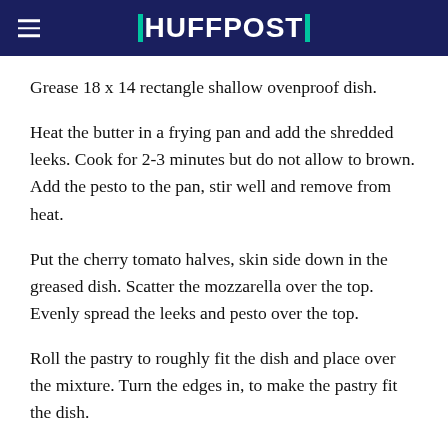HUFFPOST
Grease 18 x 14 rectangle shallow ovenproof dish.
Heat the butter in a frying pan and add the shredded leeks. Cook for 2-3 minutes but do not allow to brown. Add the pesto to the pan, stir well and remove from heat.
Put the cherry tomato halves, skin side down in the greased dish. Scatter the mozzarella over the top. Evenly spread the leeks and pesto over the top.
Roll the pastry to roughly fit the dish and place over the mixture. Turn the edges in, to make the pastry fit the dish.